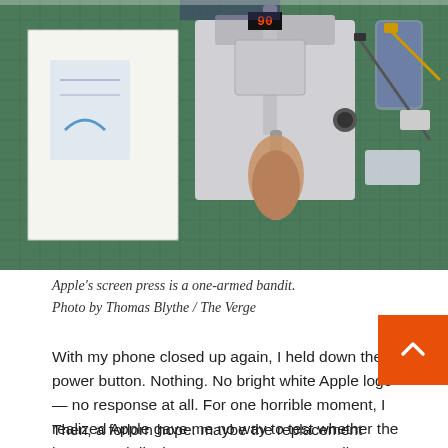[Figure (photo): Overhead photo of Apple's screen press machine (a one-armed bandit style press) on a green cutting mat, with an open instruction booklet on the left and disassembled iPhone components and tools on the right. A hand grips the press handle.]
Apple's screen press is a one-armed bandit. Photo by Thomas Blythe / The Verge
With my phone closed up again, I held down the power button. Nothing. No bright white Apple logo — no response at all. For one horrible moment, I realized Apple gave me no way to test whether the battery and display connectors were actually seated (they pro weren't) and had me close up the phone anyhow.
Then, a forlorn hope: maybe the replacement battery